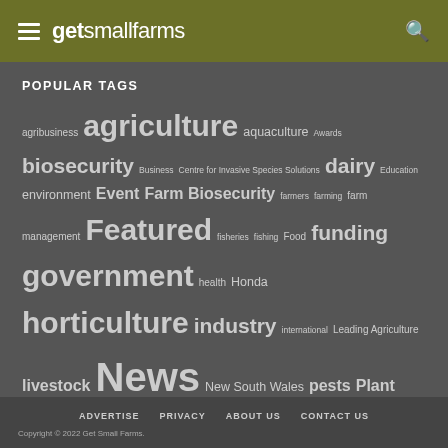getsmallfarms
POPULAR TAGS
agribusiness agriculture aquaculture Awards biosecurity Business Centre for Invasive Species Solutions dairy Education environment Event Farm Biosecurity farmers farming farm management Featured fisheries fishing Food funding government health Honda horticulture industry international Leading Agriculture livestock News New South Wales pests Plant Health Australia power equipment Product Queensland Research rural safety Technology Trade Victoria water weather western australia Wine
ADVERTISE  PRIVACY  ABOUT US  CONTACT US
Copyright © 2022 Get Small Farms.